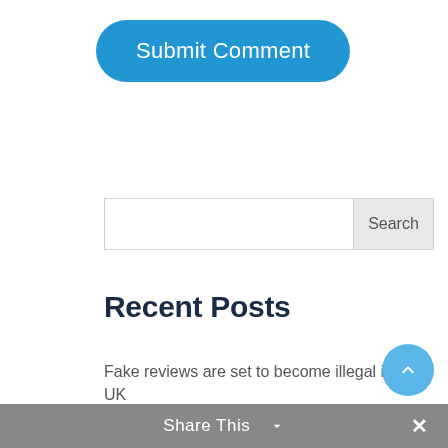[Figure (screenshot): A blue rounded button labeled 'Submit Comment']
[Figure (screenshot): A search input field with a 'Search' button on the right]
Recent Posts
Fake reviews are set to become illegal in the UK
Now that Xmas is in the rearview
Share This  ∨  ×